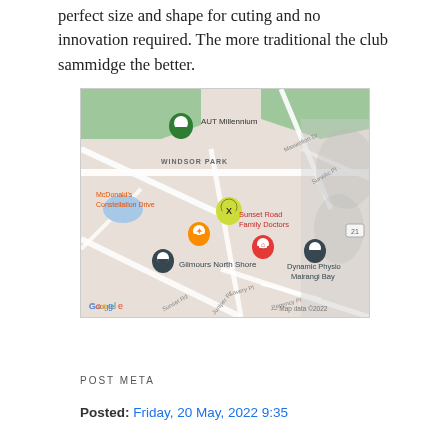perfect size and shape for cuting and no innovation required. The more traditional the club sammidge the better.
[Figure (map): Google Maps screenshot showing Windsor Park area with markers for AUT Millennium (green), McDonald's Constellation Drive (orange), Gilmours North Shore (blue), Dynamic Physio Mairangi Bay (blue), Sunset Road Family Doctors (red), and a yellow X marker near the center. Labels include Windsor Park, Maxwelton Dr, SurviAc Pl, Lavery Pl, Juniper Rc, Sunset Rd, Regency Pl, and road 21. Google logo and Map data ©2022 text visible.]
POST META
Posted: Friday, 20 May, 2022 9:35